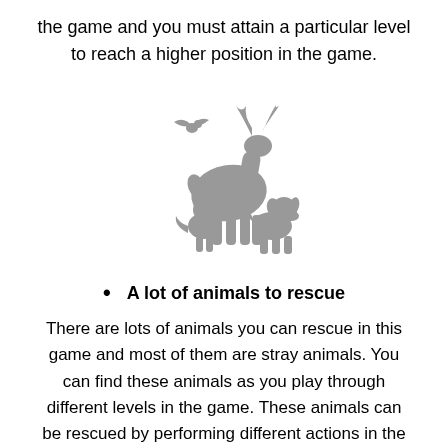the game and you must attain a particular level to reach a higher position in the game.
[Figure (illustration): Gray silhouette illustration of multiple animals grouped together: a deer with antlers, a bird in flight, a cat, and a dog.]
A lot of animals to rescue
There are lots of animals you can rescue in this game and most of them are stray animals. You can find these animals as you play through different levels in the game. These animals can be rescued by performing different actions in the game.
[Figure (illustration): Black rounded rectangle with two white circular dots, resembling a robot or device face.]